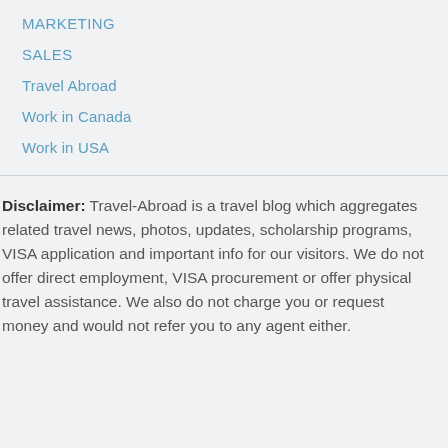MARKETING
SALES
Travel Abroad
Work in Canada
Work in USA
Disclaimer: Travel-Abroad is a travel blog which aggregates related travel news, photos, updates, scholarship programs, VISA application and important info for our visitors. We do not offer direct employment, VISA procurement or offer physical travel assistance. We also do not charge you or request money and would not refer you to any agent either.